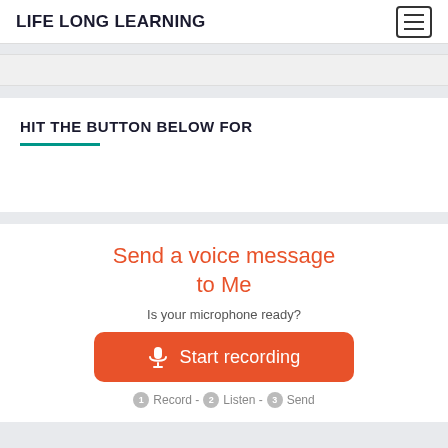LIFE LONG LEARNING
HIT THE BUTTON BELOW FOR
Send a voice message to Me
Is your microphone ready?
Start recording
Record - Listen - Send